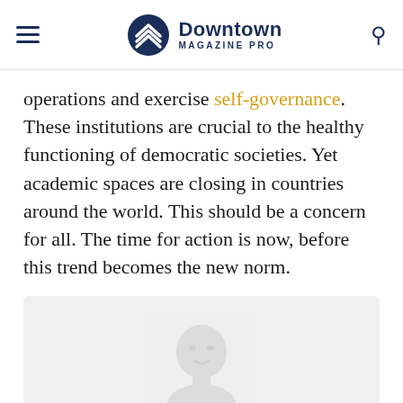Downtown Magazine Pro
operations and exercise self-governance. These institutions are crucial to the healthy functioning of democratic societies. Yet academic spaces are closing in countries around the world. This should be a concern for all. The time for action is now, before this trend becomes the new norm.
[Figure (photo): Placeholder silhouette of a person's face and head against a light grey background]
Julius